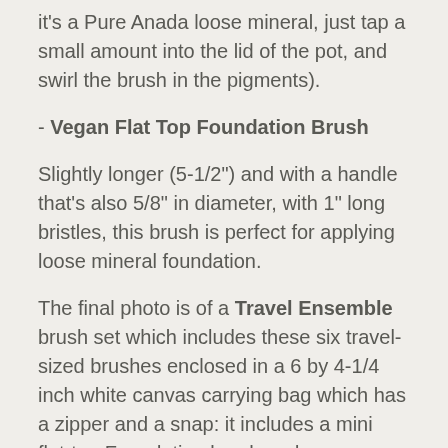it's a Pure Anada loose mineral, just tap a small amount into the lid of the pot, and swirl the brush in the pigments).
- Vegan Flat Top Foundation Brush
Slightly longer (5-1/2") and with a handle that's also 5/8" in diameter, with 1" long bristles, this brush is perfect for applying loose mineral foundation.
The final photo is of a Travel Ensemble brush set which includes these six travel-sized brushes enclosed in a 6 by 4-1/4 inch white canvas carrying bag which has a zipper and a snap: it includes a mini flat-top Foundation brush; a dome-shaped Blush brush; an Oval Shad...